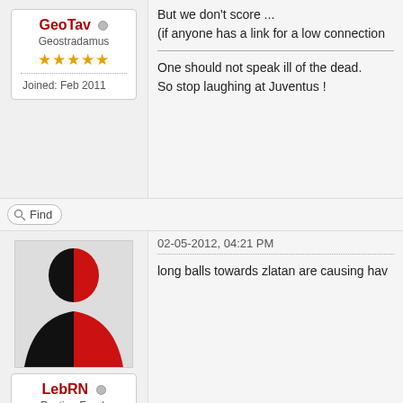But we don't score ...
(if anyone has a link for a low connection
One should not speak ill of the dead.
So stop laughing at Juventus !
GeoTav
Geostradamus
Joined: Feb 2011
Find
02-05-2012, 04:21 PM
long balls towards zlatan are causing hav
LebRN
Posting Freak
Joined: Feb 2011